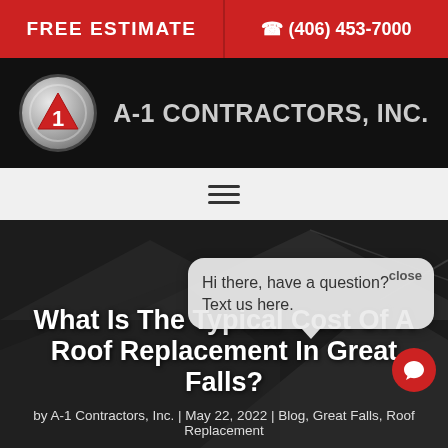FREE ESTIMATE | (406) 453-7000
[Figure (logo): A-1 Contractors, Inc. logo with red triangle and number 1 inside silver circle]
A-1 CONTRACTORS, INC.
[Figure (illustration): Hamburger menu icon (three horizontal lines)]
[Figure (screenshot): Website hero section with dark background showing article title and chat popup]
What Is The Typical Cost Of A Roof Replacement In Great Falls?
by A-1 Contractors, Inc. | May 22, 2022 | Blog, Great Falls, Roof Replacement